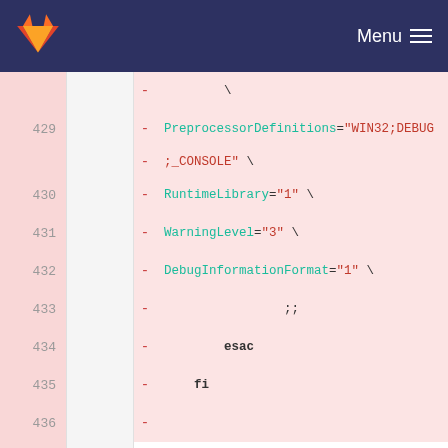GitLab  Menu
Code diff view showing lines 429-439 and beyond, with removed lines (pink) and unchanged lines (white). Shows shell script code with PreprocessorDefinitions, RuntimeLibrary, WarningLevel, DebugInformationFormat, case statement for $target, and Name=VCCLCompilerTool attributes.